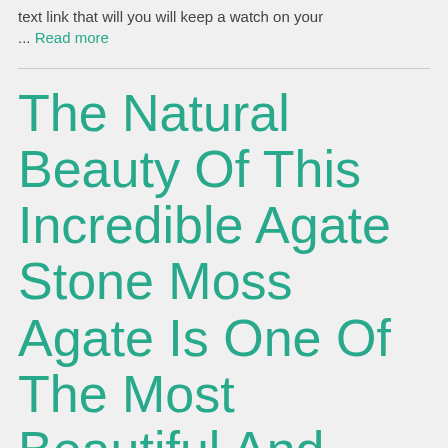text link that will you will keep a watch on your
... Read more
The Natural Beauty Of This Incredible Agate Stone Moss Agate Is One Of The Most Beautiful And Unique Varieties Of Agate In The World.